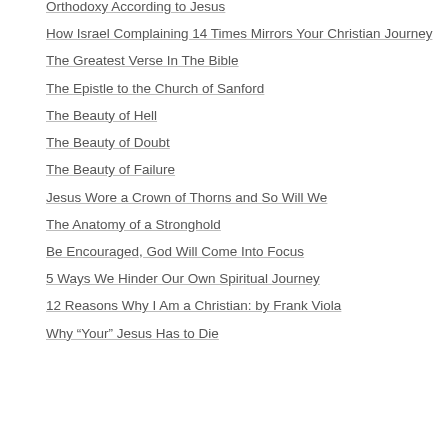Orthodoxy According to Jesus
How Israel Complaining 14 Times Mirrors Your Christian Journey
The Greatest Verse In The Bible
The Epistle to the Church of Sanford
The Beauty of Hell
The Beauty of Doubt
The Beauty of Failure
Jesus Wore a Crown of Thorns and So Will We
The Anatomy of a Stronghold
Be Encouraged, God Will Come Into Focus
5 Ways We Hinder Our Own Spiritual Journey
12 Reasons Why I Am a Christian: by Frank Viola
Why “Your” Jesus Has to Die